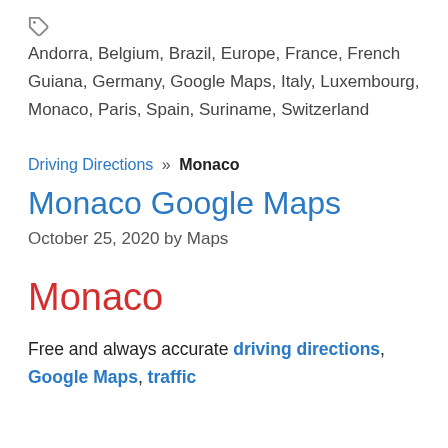Andorra, Belgium, Brazil, Europe, France, French Guiana, Germany, Google Maps, Italy, Luxembourg, Monaco, Paris, Spain, Suriname, Switzerland
Driving Directions » Monaco
Monaco Google Maps
October 25, 2020 by Maps
Monaco
Free and always accurate driving directions, Google Maps, traffic